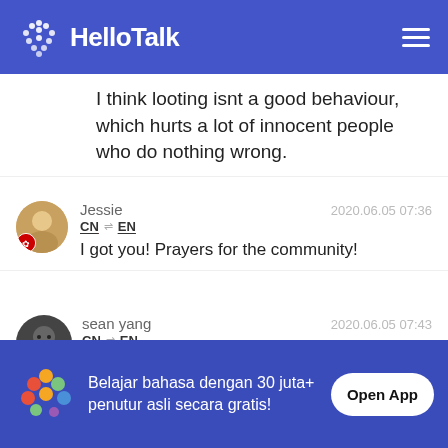[Figure (logo): HelloTalk app header with logo and hamburger menu on blue background]
I think looting isnt a good behaviour, which hurts a lot of innocent people who do nothing wrong.
Jessie
2020.06.05 07:36
CN → EN
I got you! Prayers for the community!
sean yang
2020.06.05 07:43
CN → EN
Good bless USA mate, I know it's all very chaotic and confusing... Hope it gets settled
Belajar bahasa dengan 30 juta+ penutur asli secara gratis!